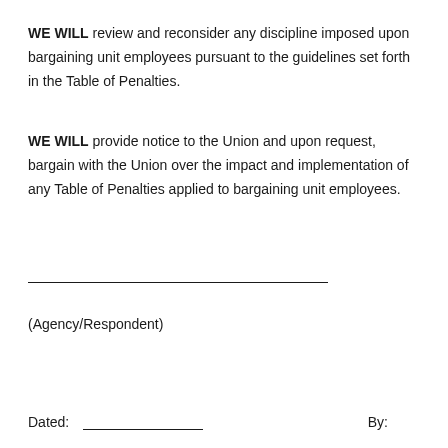WE WILL review and reconsider any discipline imposed upon bargaining unit employees pursuant to the guidelines set forth in the Table of Penalties.
WE WILL provide notice to the Union and upon request, bargain with the Union over the impact and implementation of any Table of Penalties applied to bargaining unit employees.
(Agency/Respondent)
Dated:
By: